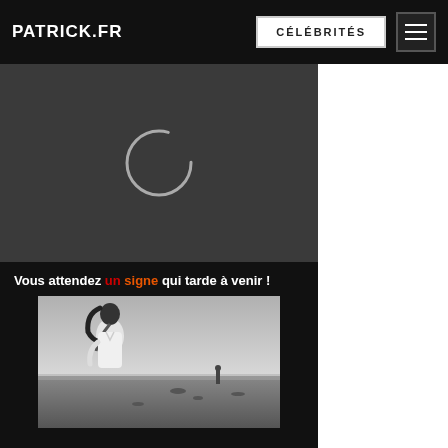PATRICK.FR | CÉLÉBRITÉS
[Figure (other): Video loading spinner on dark gray background — circular spinner outline centered on dark gray rectangle]
[Figure (photo): Black and white photo of a woman in a white shirt on a beach with a person standing in the distance; caption text reads: Vous attendez un signe qui tarde à venir !]